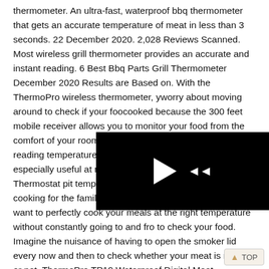thermometer. An ultra-fast, waterproof bbq thermometer that gets an accurate temperature of meat in less than 3 seconds. 22 December 2020. 2,028 Reviews Scanned. Most wireless grill thermometer provides an accurate and instant reading. 6 Best Bbq Parts Grill Thermometer December 2020 Results are Based on. With the ThermoPro wireless thermometer, y... worry about moving around to check if your foo... cooked because the 300 feet mobile receiver allows you to monitor your food from the comfort of your room. The large LCD screen makes reading temperature easy and the bright blue backlight is especially useful at night or in the dark. 2.5 feet stem with Thermostat pit temperature gauge. Whether you are cooking for the family, friends or trying out a new dish, and want to perfectly cook your meals at the right temperature without constantly going to and fro to check your food. Imagine the nuisance of having to open the smoker lid every now and then to check whether your meat is ready or not. ThermoPro TP19 Waterproof Digital Meat Thermometer, 9. Just place the wood charger near the probe metal when in use so that the signal will be stronger. Grill thermometer is necessary grilling equipment if...
[Figure (screenshot): A video player overlay showing a play button and rewind/fast-forward controls on a black background]